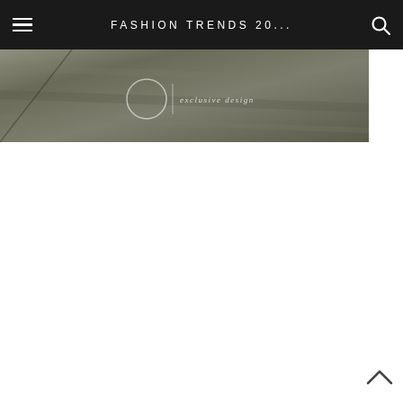FASHION TRENDS 20...
[Figure (screenshot): Website screenshot showing a dark navigation bar at the top with a hamburger menu icon on the left, the title 'FASHION TRENDS 20...' in the center, and a search icon on the right. Below is a hero/banner image area with a gray textured wood-like background showing a logo circle and 'exclusive design' text.]